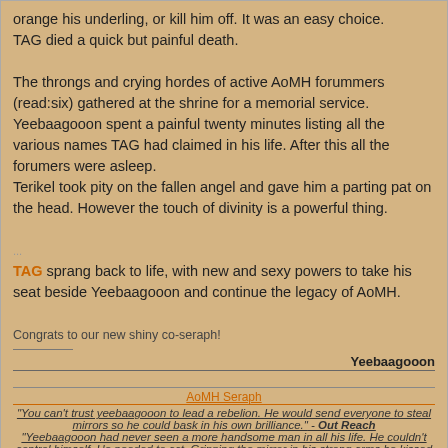orange his underling, or kill him off. It was an easy choice. TAG died a quick but painful death.
The throngs and crying hordes of active AoMH forummers (read:six) gathered at the shrine for a memorial service. Yeebaagooon spent a painful twenty minutes listing all the various names TAG had claimed in his life. After this all the forumers were asleep.
Terikel took pity on the fallen angel and gave him a parting pat on the head. However the touch of divinity is a powerful thing.
TAG sprang back to life, with new and sexy powers to take his seat beside Yeebaagooon and continue the legacy of AoMH.
Congrats to our new shiny co-seraph!
Yeebaagooon
AoMH Seraph
"You can't trust yeebaagooon to lead a rebelion. He would send everyone to steal mirrors so he could bask in his own brilliance." - Out Reach
"Yeebaagooon had never seen a more handsome man in all his life. He couldn't control himself. He needed to act. Gripping the mirror in his strong arms he kissed the figure before him..." - Out Reach
AoMH: Unfinished Scenarios|Singleplayer: Codename Ripto|Multiplayer: Minigames Z|CSC 7
Ex Seraphs Dictator, Spore Heaven Seraph
Replies:
Elrich
Hero
posted 07 March 2018 10:45 PM EDT (US)    1 / 4
Congrats, TAG, now they're going to ask for twice the work for the same pay, you know.